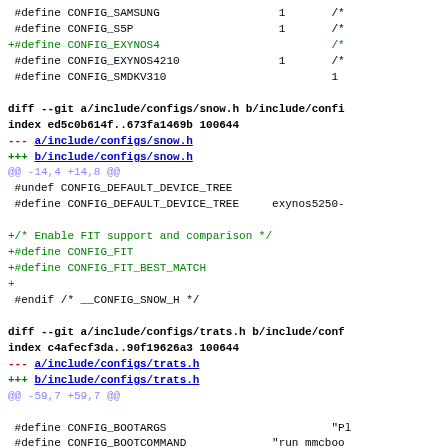#define CONFIG_SAMSUNG                    1       /*
 #define CONFIG_S5P                         1       /*
+#define CONFIG_EXYNOS4                             /*
 #define CONFIG_EXYNOS4210                  1       /*
 #define CONFIG_SMDKV310                            1
diff --git a/include/configs/snow.h b/include/confi
index ed5c0b614f..673fa1469b 100644
--- a/include/configs/snow.h
+++ b/include/configs/snow.h
@@ -14,4 +14,8 @@
 #undef CONFIG_DEFAULT_DEVICE_TREE
 #define CONFIG_DEFAULT_DEVICE_TREE      exynos5250-

+/* Enable FIT support and comparison */
+#define CONFIG_FIT
+#define CONFIG_FIT_BEST_MATCH
+
 #endif /* __CONFIG_SNOW_H */
diff --git a/include/configs/trats.h b/include/conf
index c4afecf3da..90f19626a3 100644
--- a/include/configs/trats.h
+++ b/include/configs/trats.h
@@ -59,7 +59,7 @@

 #define CONFIG_BOOTARGS                            "Pl
 #define CONFIG_BOOTCOMMAND              "run mmcboo
-#define CONFIG_DEFAULT_CONSOLE          "console=tt